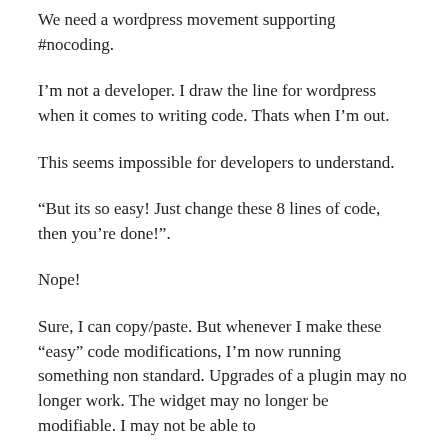We need a wordpress movement supporting #nocoding.
I'm not a developer. I draw the line for wordpress when it comes to writing code. Thats when I'm out.
This seems impossible for developers to understand.
“But its so easy! Just change these 8 lines of code, then you’re done!”.
Nope!
Sure, I can copy/paste. But whenever I make these “easy” code modifications, I’m now running something non standard. Upgrades of a plugin may no longer work. The widget may no longer be modifiable. I may not be able to